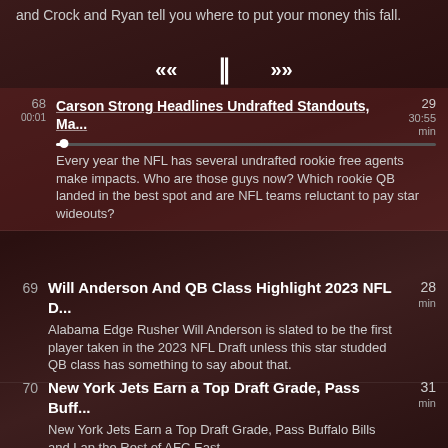and Crock and Ryan tell you where to put your money this fall.
[Figure (screenshot): Media player controls: rewind (<<), pause (||), fast forward (>>)]
68 | Carson Strong Headlines Undrafted Standouts, Ma... | 29 min | 30:55 | Every year the NFL has several undrafted rookie free agents make impacts. Who are those guys now? Which rookie QB landed in the best spot and are NFL teams reluctant to pay star wideouts?
69 | Will Anderson And QB Class Highlight 2023 NFL D... | 28 min | Alabama Edge Rusher Will Anderson is slated to be the first player taken in the 2023 NFL Draft unless this star studded QB class has something to say about that.
70 | New York Jets Earn a Top Draft Grade, Pass Buff... | 31 min | New York Jets Earn a Top Draft Grade, Pass Buffalo Bills and Lap the Rest of AFC East
71 | Did The NFC East Have The Best Draft Grades? | 26 min | Eagles, Cowboys, Giants and Commanders got...